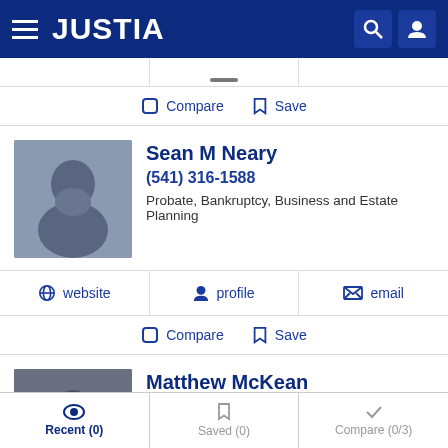JUSTIA
Compare   Save
Sean M Neary
(541) 316-1588
Probate, Bankruptcy, Business and Estate Planning
website   profile   email
Compare   Save
Matthew McKean
(503) 846-0707
Probate, Business, Estate Planning and Real Estate
Recent (0)   Saved (0)   Compare (0/3)